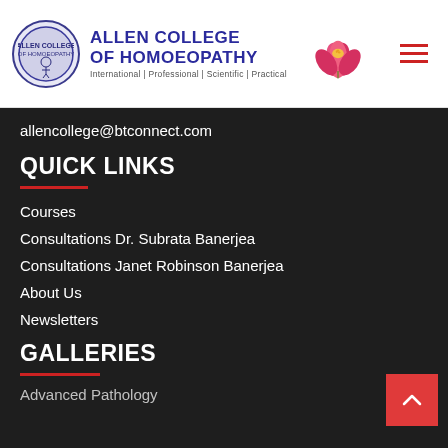[Figure (logo): Allen College of Homoeopathy logo with circular emblem, text 'ALLEN COLLEGE OF HOMOEOPATHY', lotus flower illustration, and tagline 'International | Professional | Scientific | Practical']
allencollege@btconnect.com
QUICK LINKS
Courses
Consultations Dr. Subrata Banerjea
Consultations Janet Robinson Banerjea
About Us
Newsletters
GALLERIES
Advanced Pathology